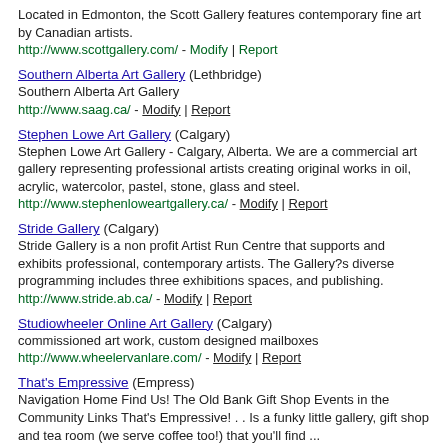Located in Edmonton, the Scott Gallery features contemporary fine art by Canadian artists.
http://www.scottgallery.com/ - Modify | Report
Southern Alberta Art Gallery (Lethbridge)
Southern Alberta Art Gallery
http://www.saag.ca/ - Modify | Report
Stephen Lowe Art Gallery (Calgary)
Stephen Lowe Art Gallery - Calgary, Alberta. We are a commercial art gallery representing professional artists creating original works in oil, acrylic, watercolor, pastel, stone, glass and steel.
http://www.stephenloweartgallery.ca/ - Modify | Report
Stride Gallery (Calgary)
Stride Gallery is a non profit Artist Run Centre that supports and exhibits professional, contemporary artists. The Gallery?s diverse programming includes three exhibitions spaces, and publishing.
http://www.stride.ab.ca/ - Modify | Report
Studiowheeler Online Art Gallery (Calgary)
commissioned art work, custom designed mailboxes
http://www.wheelervanlare.com/ - Modify | Report
That's Empressive (Empress)
Navigation Home Find Us! The Old Bank Gift Shop Events in the Community Links That's Empressive! . . Is a funky little gallery, gift shop and tea room (we serve coffee too!) that you'll find ...
http://www.empressive.ca/ - Modify | Report
Triangle Gallery of Visual Arts (Calgary)
News Sign Up Home What's On Venues EDUCATION About CATALYST